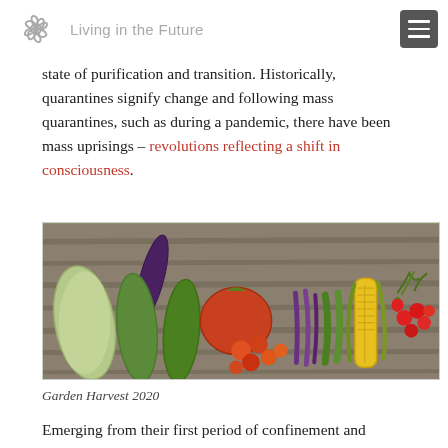Living in the Future
state of purification and transition. Historically, quarantines signify change and following mass quarantines, such as during a pandemic, there have been mass uprisings – revolutions reflecting a shift in consciousness.
[Figure (photo): A flat-lay photograph of various fresh garden vegetables on a wooden surface, including squash, cucumbers, tomatoes, eggplant, corn, peas, and cherry tomatoes.]
Garden Harvest 2020
Emerging from their first period of confinement and